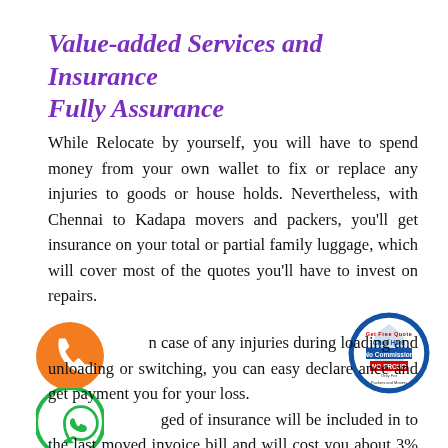Value-added Services and Insurance Fully Assurance
While Relocate by yourself, you will have to spend money from your own wallet to fix or replace any injuries to goods or house holds. Nevertheless, with Chennai to Kadapa movers and packers, you'll get insurance on your total or partial family luggage, which will cover most of the quotes you'll have to invest on repairs.
[Figure (illustration): Orange circle with white telephone/phone handset icon]
[Figure (illustration): Circular badge with blue and red design reading: Get Free Quote, Click Here, No Commission, NO FROUD, Only For Packers and Movers]
[Figure (illustration): Green circle with white WhatsApp phone handset icon]
In case of any injuries during loading and unloading or switching, you can easy declare ance and get payment you for your loss. ged of insurance will be included in to the last moved invoice bill and will cost you about 3% of